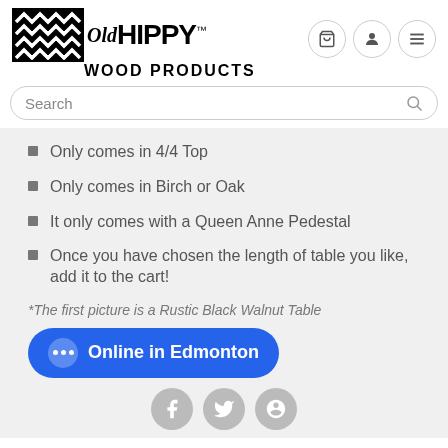[Figure (logo): Old Hippy Wood Products logo with black wave pattern box and bold text]
Search
Only comes in 4/4 Top
Only comes in Birch or Oak
It only comes with a Queen Anne Pedestal
Once you have chosen the length of table you like, add it to the cart!
*The first picture is a Rustic Black Walnut Table
Online in Edmonton
[Figure (illustration): Social media icons: Facebook, Twitter, Pinterest]